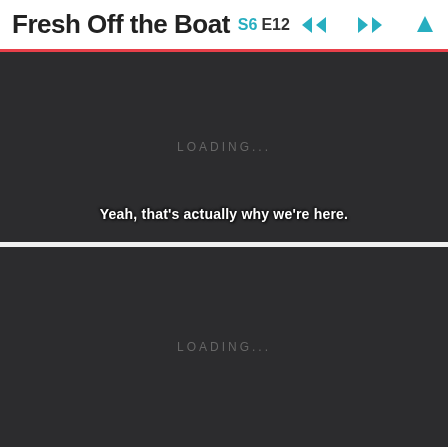Fresh Off the Boat S6 E12
[Figure (screenshot): Dark video player panel showing LOADING... text with subtitle: Yeah, that's actually why we're here.]
[Figure (screenshot): Dark video player panel showing LOADING... text]